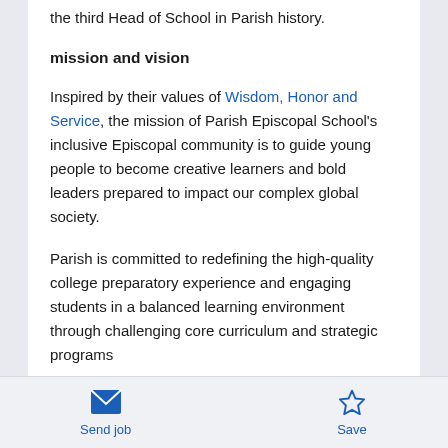the third Head of School in Parish history.
mission and vision
Inspired by their values of Wisdom, Honor and Service, the mission of Parish Episcopal School's inclusive Episcopal community is to guide young people to become creative learners and bold leaders prepared to impact our complex global society.
Parish is committed to redefining the high-quality college preparatory experience and engaging students in a balanced learning environment through challenging core curriculum and strategic programs